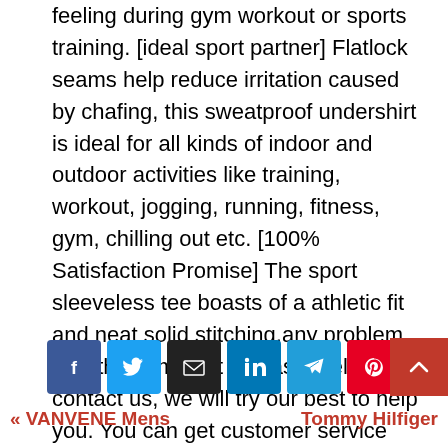feeling during gym workout or sports training. [ideal sport partner] Flatlock seams help reduce irritation caused by chafing, this sweatproof undershirt is ideal for all kinds of indoor and outdoor activities like training, workout, jogging, running, fitness, gym, chilling out etc. [100% Satisfaction Promise] The sport sleeveless tee boasts of a athletic fit and neat solid stitching,any problem with the gym shirt , please feel free to contact us, we will try our best to help you. You can get customer service and 100% money back.
[Figure (other): Social share buttons: Facebook, Twitter, Email, LinkedIn, Telegram, Pinterest]
« VANVENE Mens    Tommy Hilfiger